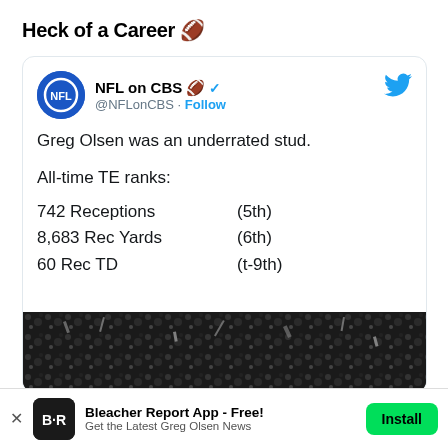Heck of a Career 🏈
[Figure (screenshot): Tweet from NFL on CBS (@NFLonCBS) with verified badge and Follow button. Tweet text reads: 'Greg Olsen was an underrated stud. All-time TE ranks: 742 Receptions (5th), 8,683 Rec Yards (6th), 60 Rec TD (t-9th)'. Below the text is a photo of a crowd/celebration scene.]
[Figure (infographic): Bleacher Report app advertisement banner at the bottom: 'Bleacher Report App - Free! Get the Latest Greg Olsen News' with an Install button.]